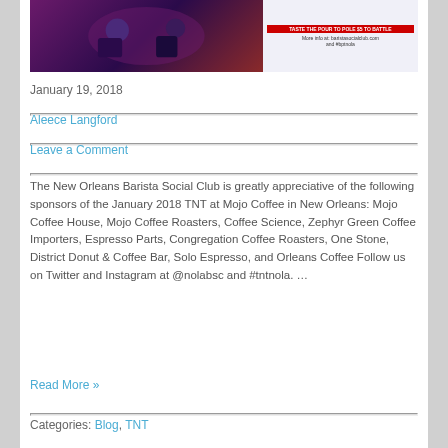[Figure (illustration): A banner/event image with a dark purple background on the left side showing illustrated characters, and a light-colored right panel with event details including text about barista social club, times, and website.]
January 19, 2018
Aleece Langford
Leave a Comment
The New Orleans Barista Social Club is greatly appreciative of the following sponsors of the January 2018 TNT at Mojo Coffee in New Orleans: Mojo Coffee House, Mojo Coffee Roasters, Coffee Science, Zephyr Green Coffee Importers, Espresso Parts, Congregation Coffee Roasters, One Stone, District Donut & Coffee Bar, Solo Espresso, and Orleans Coffee Follow us on Twitter and Instagram at @nolabsc and #tntnola. …
Read More »
Categories: Blog, TNT